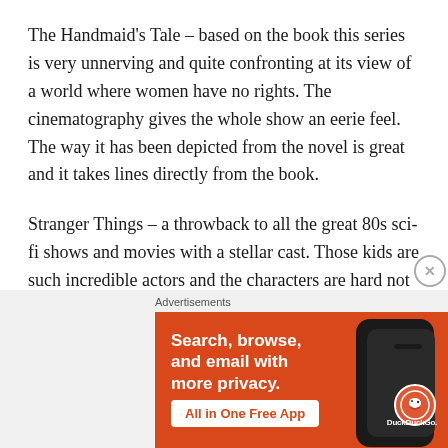The Handmaid's Tale – based on the book this series is very unnerving and quite confronting at its view of a world where women have no rights. The cinematography gives the whole show an eerie feel. The way it has been depicted from the novel is great and it takes lines directly from the book.
Stranger Things – a throwback to all the great 80s sci-fi shows and movies with a stellar cast. Those kids are such incredible actors and the characters are hard not to love. By the way the soundtrack is to die for and infuses electronic with the great 80s
Advertisements
[Figure (other): DuckDuckGo advertisement banner with orange background showing phone image with DuckDuckGo logo. Text reads: Search, browse, and email with more privacy. All in One Free App. DuckDuckGo.]